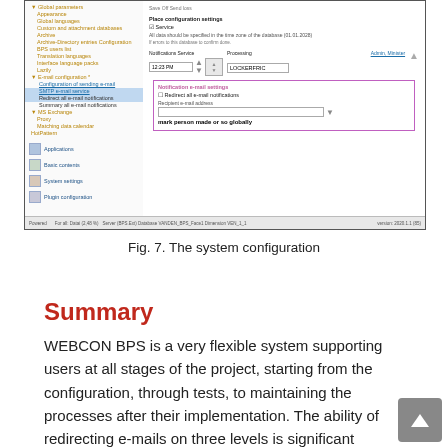[Figure (screenshot): Screenshot of WEBCON BPS system configuration interface showing a tree navigation panel on the left with items like Applications, Basic contents, System settings, Plugin configuration, and E-mail configuration (with sub-items including configuration of sending e-mail, and mail e-mail notifications highlighted). The right panel shows e-mail configuration settings including checkboxes and a highlighted pink section for notification e-mail settings with a recipient e-mail address field.]
Fig. 7. The system configuration
Summary
WEBCON BPS is a very flexible system supporting users at all stages of the project, starting from the configuration, through tests, to maintaining the processes after their implementation. The ability of redirecting e-mails on three levels is significant support